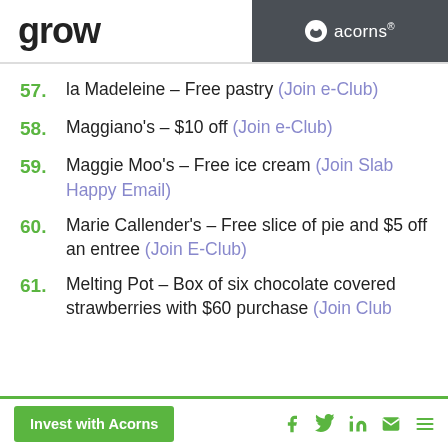grow | acorns®
57. la Madeleine – Free pastry (Join e-Club)
58. Maggiano's – $10 off (Join e-Club)
59. Maggie Moo's – Free ice cream (Join Slab Happy Email)
60. Marie Callender's – Free slice of pie and $5 off an entree (Join E-Club)
61. Melting Pot – Box of six chocolate covered strawberries with $60 purchase (Join Club
Invest with Acorns